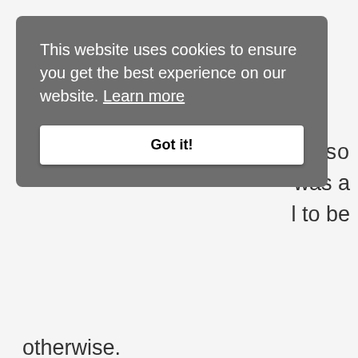is also
was a
l to be
[Figure (screenshot): Cookie consent banner overlay with dark gray background showing text 'This website uses cookies to ensure you get the best experience on our website. Learn more' and a 'Got it!' button.]
otherwise.